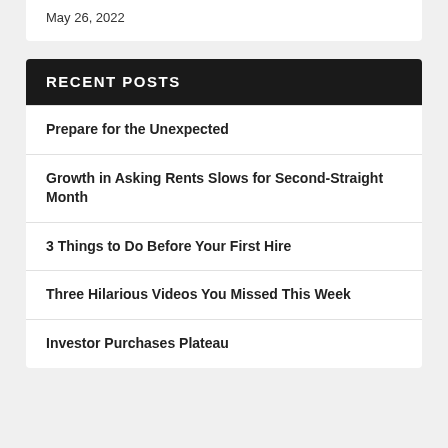May 26, 2022
RECENT POSTS
Prepare for the Unexpected
Growth in Asking Rents Slows for Second-Straight Month
3 Things to Do Before Your First Hire
Three Hilarious Videos You Missed This Week
Investor Purchases Plateau